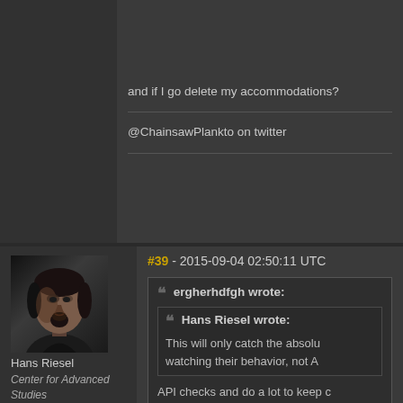and if I go delete my accommodations?
@ChainsawPlankto on twitter
[Figure (photo): User avatar portrait of Hans Riesel - a dark-haired man in dark clothing against a dark background]
Hans Riesel
Center for Advanced Studies
Gallente Federation
Likes received: 0
#39 - 2015-09-04 02:50:11 UTC
ergherhdfgh wrote:
Hans Riesel wrote:
This will only catch the absolut watching their behavior, not A
API checks and do a lot to keep c not using them well. Either that or people not to check APIs.